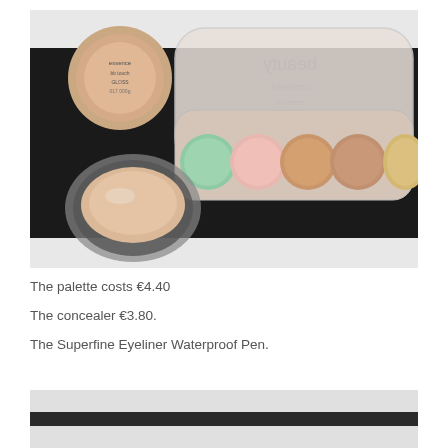[Figure (photo): Photo of essence makeup products on a black and white striped surface: a round bb touch powder compact (top left), a glass jar of beige concealer (bottom left), and an essence multi concealer palette with 5 color pans (green, pink, beige, tan, yellow) in a clear plastic case (right).]
The palette costs €4.40
The concealer €3.80.
The Superfine Eyeliner Waterproof Pen.
[Figure (photo): Partial photo of products on a black and white striped surface, cropped at bottom of page.]